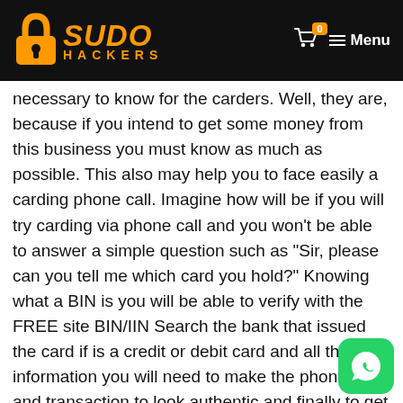SUDO HACKERS — Menu
necessary to know for the carders. Well, they are, because if you intend to get some money from this business you must know as much as possible. This also may help you to face easily a carding phone call. Imagine how will be if you will try carding via phone call and you won't be able to answer a simple question such as "Sir, please can you tell me which card you hold?" Knowing what a BIN is you will be able to verify with the FREE site BIN/IIN Search the bank that issued the card if is a credit or debit card and all the information you will need to make the phone call and transaction to look authentic and finally to get the goods you was looking for.
Good luck guys. Stay safe and I'll see you next time!